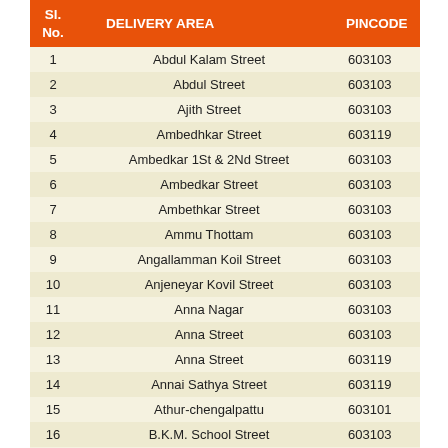| Sl. No. | DELIVERY AREA | PINCODE |
| --- | --- | --- |
| 1 | Abdul Kalam Street | 603103 |
| 2 | Abdul Street | 603103 |
| 3 | Ajith Street | 603103 |
| 4 | Ambedhkar Street | 603119 |
| 5 | Ambedkar 1St & 2Nd Street | 603103 |
| 6 | Ambedkar Street | 603103 |
| 7 | Ambethkar Street | 603103 |
| 8 | Ammu Thottam | 603103 |
| 9 | Angallamman Koil Street | 603103 |
| 10 | Anjeneyar Kovil Street | 603103 |
| 11 | Anna Nagar | 603103 |
| 12 | Anna Street | 603103 |
| 13 | Anna Street | 603119 |
| 14 | Annai Sathya Street | 603119 |
| 15 | Athur-chengalpattu | 603101 |
| 16 | B.K.M. School Street | 603103 |
| 17 | Baba Street | 603103 |
| 18 | Bajanai Koil Street | 603103 |
| 19 | Bajanai Koil Street | 603119 |
| 20 | Bajanai Kovil Street | 603103 |
| 21 | Balaji Street | 603103 |
| 22 | Balakrishna Naiudu Street | 603119 |
| 23 | Barathi Nagar 1St - 3Rd Cross Street | 603119 |